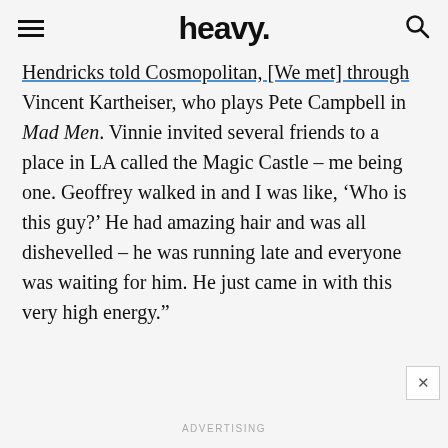heavy.
Hendricks told Cosmopolitan, '[We met] through Vincent Kartheiser, who plays Pete Campbell in Mad Men. Vinnie invited several friends to a place in LA called the Magic Castle – me being one. Geoffrey walked in and I was like, 'Who is this guy?' He had amazing hair and was all dishevelled – he was running late and everyone was waiting for him. He just came in with this very high energy.'
ADVERTISING